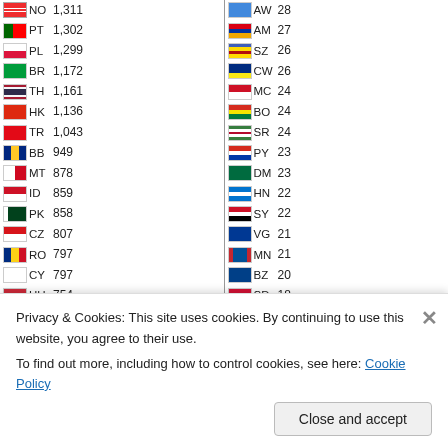| Flag | Code | Count | Flag | Code | Count |
| --- | --- | --- | --- | --- | --- |
| NO | 1,311 | AW | 28 |
| PT | 1,302 | AM | 27 |
| PL | 1,299 | SZ | 26 |
| BR | 1,172 | CW | 26 |
| TH | 1,161 | MC | 24 |
| HK | 1,136 | BO | 24 |
| TR | 1,043 | SR | 24 |
| BB | 949 | PY | 23 |
| MT | 878 | DM | 23 |
| ID | 859 | HN | 22 |
| PK | 858 | SY | 22 |
| CZ | 807 | VG | 21 |
| RO | 797 | MN | 21 |
| CY | 797 | BZ | 20 |
| HU | 754 | SD | 18 |
| FI | 692 | NC | 18 |
| JE | 688 | SV | 18 |
| MX | 658 | GU | 18 |
| AT | 652 | LS | 17 |
| SA | 592 | AO | 16 |
| IL | 574 | AI | 16 |
Privacy & Cookies: This site uses cookies. By continuing to use this website, you agree to their use. To find out more, including how to control cookies, see here: Cookie Policy